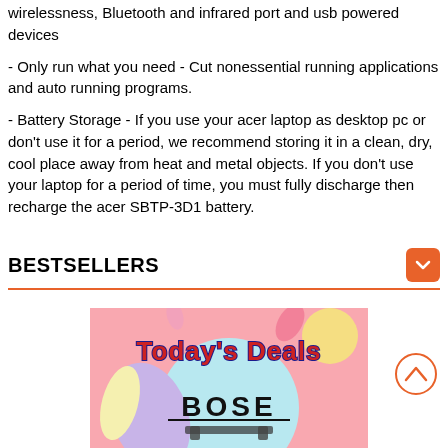wirelessness, Bluetooth and infrared port and usb powered devices
- Only run what you need - Cut nonessential running applications and auto running programs.
- Battery Storage - If you use your acer laptop as desktop pc or don't use it for a period, we recommend storing it in a clean, dry, cool place away from heat and metal objects. If you don't use your laptop for a period of time, you must fully discharge then recharge the acer SBTP-3D1 battery.
BESTSELLERS
[Figure (illustration): Today's Deals promotional banner with colorful abstract background showing Bose brand and product]